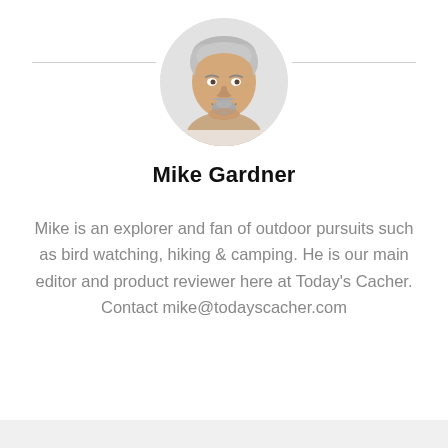[Figure (photo): Circular profile photo of Mike Gardner, a middle-aged man with gray hair and a goatee, smiling, wearing a light-colored shirt, on a light gray background.]
Mike Gardner
Mike is an explorer and fan of outdoor pursuits such as bird watching, hiking & camping. He is our main editor and product reviewer here at Today's Cacher. Contact mike@todayscacher.com